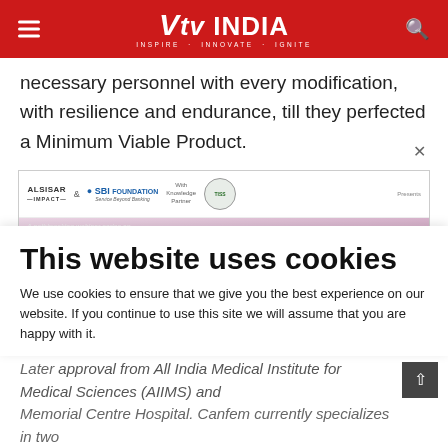Vtv INDIA — INSPIRE · INNOVATE · IGNITE
necessary personnel with every modification, with resilience and endurance, till they perfected a Minimum Viable Product.
[Figure (infographic): ALSISAR IMPACT & SBI Foundation with Knowledge Partner TISS webinar banner: A pathbreaking webinar series on WOMEN ENTREPRENEURS MAKING A DIFFERENCE, featuring speaker portraits]
This website uses cookies
We use cookies to ensure that we give you the best experience on our website. If you continue to use this site we will assume that you are happy with it.
Later approval from All India Medical Institute for Medical Sciences (AIIMS) and Memorial Centre Hospital. Canfem currently specializes in two